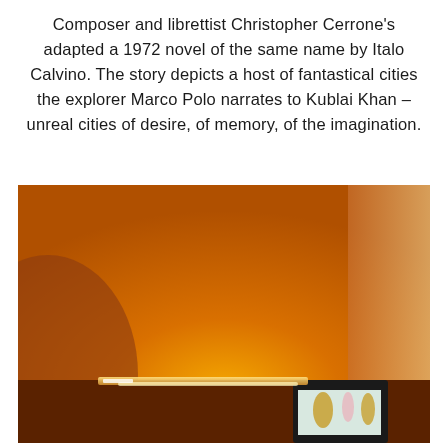Composer and librettist Christopher Cerrone's adapted a 1972 novel of the same name by Italo Calvino. The story depicts a host of fantastical cities the explorer Marco Polo narrates to Kublai Khan – unreal cities of desire, of memory, of the imagination.
[Figure (photo): A warmly lit interior room scene photographed from below, showing an amber/orange-lit ceiling and upper walls with warm uplighting. In the lower portion of the image, a framed picture or screen is visible on a dark wall, with light-colored abstract shapes visible on it.]